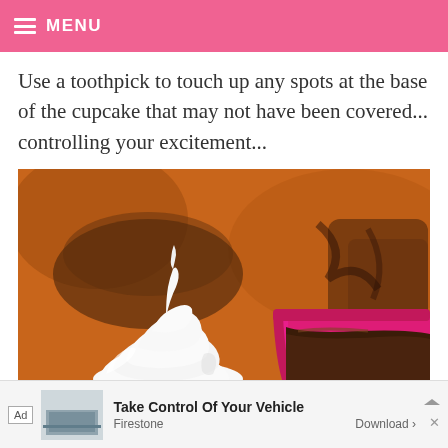MENU
Use a toothpick to touch up any spots at the base of the cupcake that may not have been covered... controlling your excitement...
[Figure (photo): Close-up photo of white soft-serve ice cream swirl in a white cup next to a pink/magenta cup filled with chocolate sauce, with blurred chocolate items on an orange background]
Ad  Take Control Of Your Vehicle  Firestone  Download >